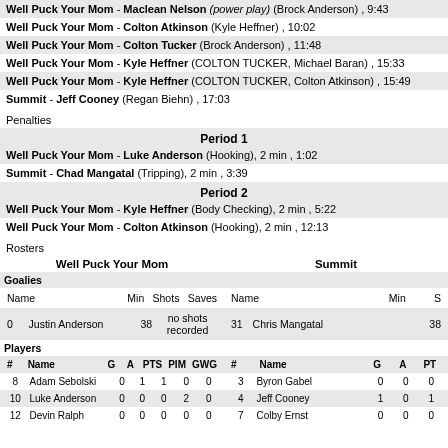Well Puck Your Mom - Maclean Nelson (power play) (Brock Anderson) , 9:43
Well Puck Your Mom - Colton Atkinson (Kyle Heffner) , 10:02
Well Puck Your Mom - Colton Tucker (Brock Anderson) , 11:48
Well Puck Your Mom - Kyle Heffner (COLTON TUCKER, Michael Baran) , 15:33
Well Puck Your Mom - Kyle Heffner (COLTON TUCKER, Colton Atkinson) , 15:49
Summit - Jeff Cooney (Regan Biehn) , 17:03
Penalties
Period 1
Well Puck Your Mom - Luke Anderson (Hooking), 2 min , 1:02
Summit - Chad Mangatal (Tripping), 2 min , 3:39
Period 2
Well Puck Your Mom - Kyle Heffner (Body Checking), 2 min , 5:22
Well Puck Your Mom - Colton Atkinson (Hooking), 2 min , 12:13
Rosters
| # | Name | G | A | PTS | PIM | GWG | # | Name | G | A | PT |
| --- | --- | --- | --- | --- | --- | --- | --- | --- | --- | --- | --- |
| 8 | Adam Sebolski | 0 | 1 | 1 | 0 | 0 | 3 | Byron Gabel | 0 | 0 | 0 |
| 10 | Luke Anderson | 0 | 0 | 0 | 2 | 0 | 4 | Jeff Cooney | 1 | 0 | 1 |
| 12 | Devin Ralph | 0 | 0 | 0 | 0 | 0 | 7 | Colby Ernst | 0 | 0 | 0 |